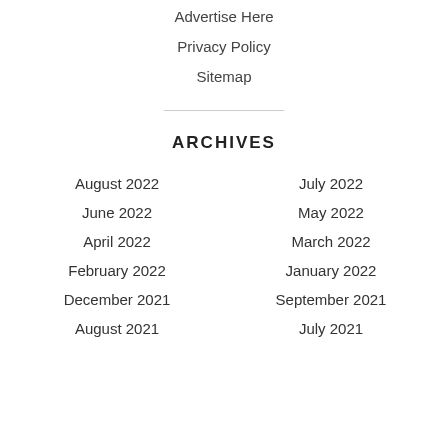Advertise Here
Privacy Policy
Sitemap
ARCHIVES
August 2022
July 2022
June 2022
May 2022
April 2022
March 2022
February 2022
January 2022
December 2021
September 2021
August 2021
July 2021